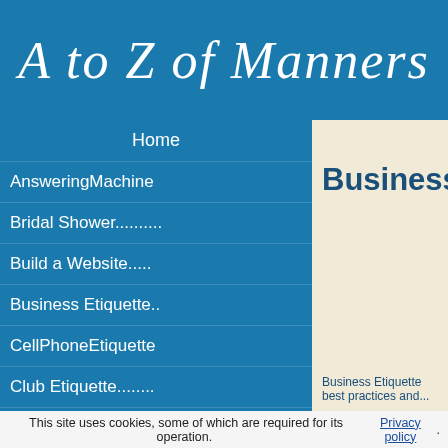A to Z of Manners
Home
AnsweringMachine
Bridal Shower..........
Build a Website.....
Business Etiquette..
CellPhoneEtiquette
Club Etiquette........
Computer Lessons
Computer Manual
Dating Etiquette.....
Dieting & Obesity..
Dog Etiquette..........
Email Etiquette.......
Business Etic
Business Etiquette best practices and...
This site uses cookies, some of which are required for its operation. Privacy policy.